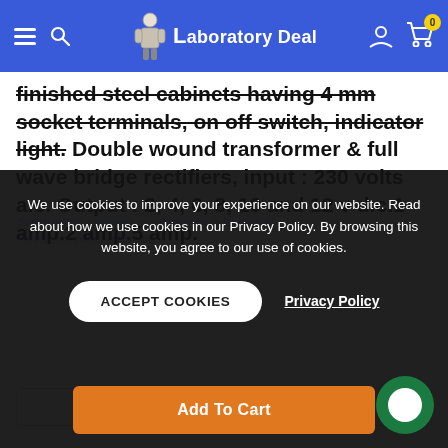Laboratory Deal — navigation bar with hamburger menu, search, logo, user icon, cart (0)
finished steel cabinets having 4 mm socket terminals, on off switch, indicator light. Double wound transformer & full wave bridge rectifiers, input : 230 volts a.c. Output : 2, 4, 6, 8, 10 and 12 v d.c.1 amp.2 amp.5 amp.
We use cookies to improve your experience on our website. Read about how we use cookies in our Privacy Policy. By browsing this website, you agree to our use of cookies.
ACCEPT COOKIES | Privacy Policy